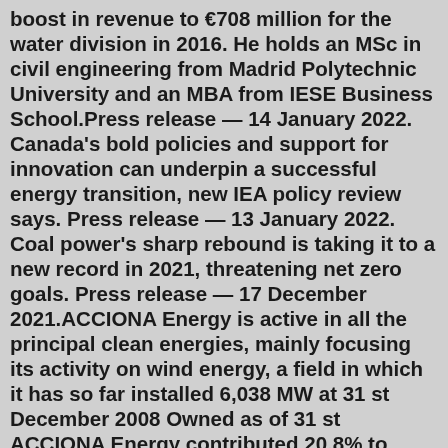boost in revenue to €708 million for the water division in 2016. He holds an MSc in civil engineering from Madrid Polytechnic University and an MBA from IESE Business School.Press release — 14 January 2022. Canada's bold policies and support for innovation can underpin a successful energy transition, new IEA policy review says. Press release — 13 January 2022. Coal power's sharp rebound is taking it to a new record in 2021, threatening net zero goals. Press release — 17 December 2021.ACCIONA Energy is active in all the principal clean energies, mainly focusing its activity on wind energy, a field in which it has so far installed 6,038 MW at 31 st December 2008 Owned as of 31 st ACCIONA Energy contributed 20.8% to 2008 EBITDA Note*: After the completion of the 20 th February agreement with Enel Generation Reven. Industrial ...Energy Management Director @ Acciona; Head of Sales @ Enel Energía México; Strategic Sales Manager @ Enel Green Power; see more ... Asthon School Vancouver, Canada, Associates (Marketing) 2000 -